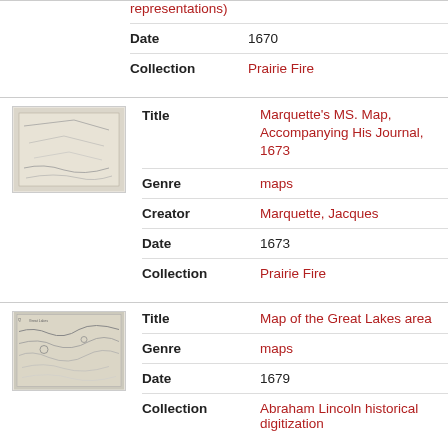representations)
Date: 1670
Collection: Prairie Fire
[Figure (illustration): Thumbnail of Marquette's MS. Map manuscript map]
Title: Marquette's MS. Map, Accompanying His Journal, 1673
Genre: maps
Creator: Marquette, Jacques
Date: 1673
Collection: Prairie Fire
[Figure (illustration): Thumbnail of Map of the Great Lakes area]
Title: Map of the Great Lakes area
Genre: maps
Date: 1679
Collection: Abraham Lincoln historical digitization